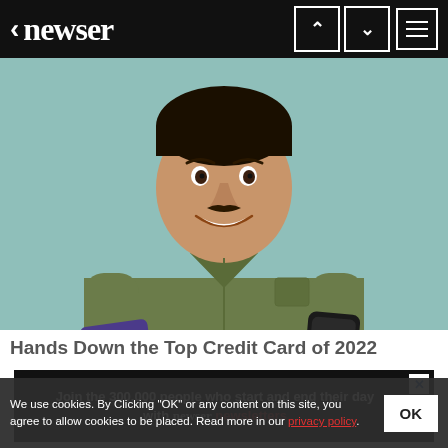< newser
[Figure (photo): Smiling man in olive green shirt holding a purple credit card in one hand and a smartphone in the other, against a teal/mint background.]
Hands Down the Top Credit Card of 2022
[Figure (infographic): Advertisement banner: Join the 300,000 people who start and end their day with newser newsletters]
We use cookies. By Clicking "OK" or any content on this site, you agree to allow cookies to be placed. Read more in our privacy policy.